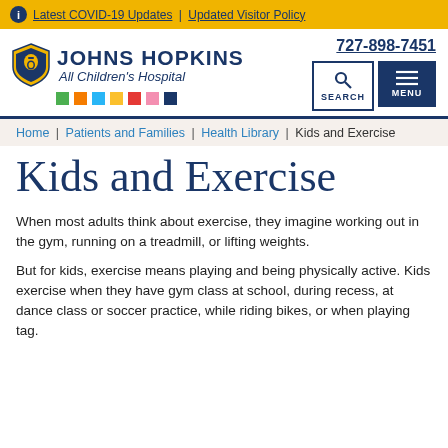Latest COVID-19 Updates | Updated Visitor Policy
[Figure (logo): Johns Hopkins All Children's Hospital logo with shield icon and colorful dots]
727-898-7451
Home | Patients and Families | Health Library | Kids and Exercise
Kids and Exercise
When most adults think about exercise, they imagine working out in the gym, running on a treadmill, or lifting weights.
But for kids, exercise means playing and being physically active. Kids exercise when they have gym class at school, during recess, at dance class or soccer practice, while riding bikes, or when playing tag.